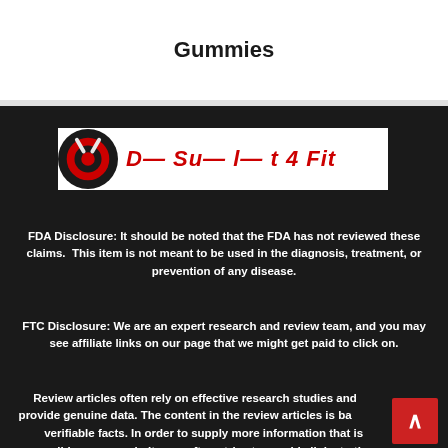Gummies
[Figure (logo): Website logo banner with a circular black and red icon on the left and red italic text to the right partially visible]
FDA Disclosure: It should be noted that the FDA has not reviewed these claims.  This item is not meant to be used in the diagnosis, treatment, or prevention of any disease.
FTC Disclosure: We are an expert research and review team, and you may see affiliate links on our page that we might get paid to click on.
Review articles often rely on effective research studies and provide genuine data. The content in the review articles is based on verifiable facts. In order to supply more information that is accessible on our website, we often strive to provide links to the producers' websites. This information may include consumer